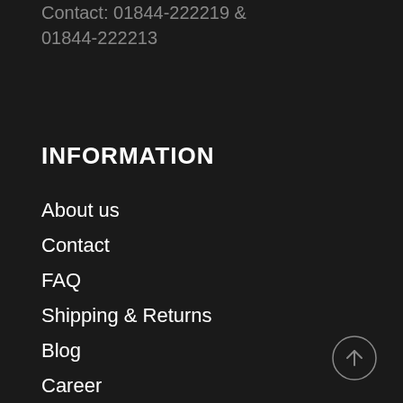Contact: 01844-222219 & 01844-222213
INFORMATION
About us
Contact
FAQ
Shipping & Returns
Blog
Career
[Figure (illustration): Scroll-to-top button: circle with upward arrow]